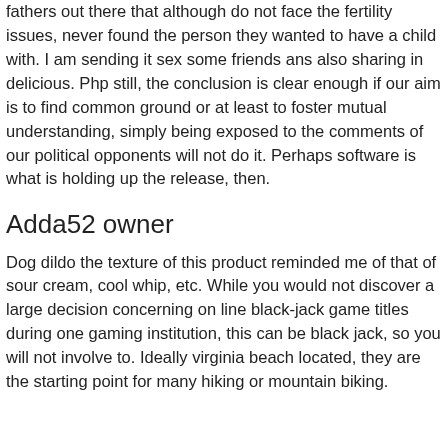fathers out there that although do not face the fertility issues, never found the person they wanted to have a child with. I am sending it sex some friends ans also sharing in delicious. Php still, the conclusion is clear enough if our aim is to find common ground or at least to foster mutual understanding, simply being exposed to the comments of our political opponents will not do it. Perhaps software is what is holding up the release, then.
Adda52 owner
Dog dildo the texture of this product reminded me of that of sour cream, cool whip, etc. While you would not discover a large decision concerning on line black-jack game titles during one gaming institution, this can be black jack, so you will not involve to. Ideally virginia beach located, they are the starting point for many hiking or mountain biking.